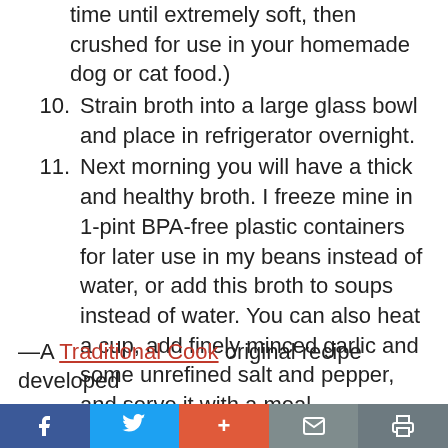(continuation) time until extremely soft, then crushed for use in your homemade dog or cat food.)
10. Strain broth into a large glass bowl and place in refrigerator overnight.
11. Next morning you will have a thick and healthy broth. I freeze mine in 1-pint BPA-free plastic containers for later use in my beans instead of water, or add this broth to soups instead of water. You can also heat a cup, add finely minced garlic and some unrefined salt and pepper, and serve it with a meal.
—A Traditional Cook original recipe developed